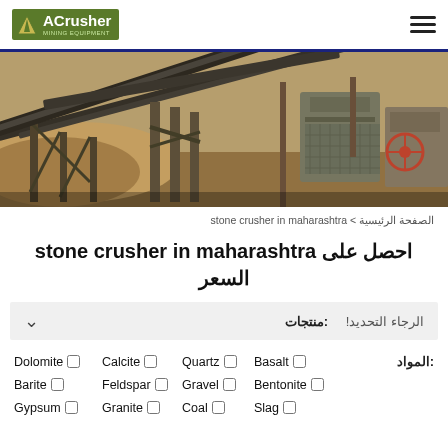ACrusher Mining Equipment
[Figure (photo): Industrial stone crusher / mining equipment plant with conveyor belts and machinery in an outdoor quarry setting]
الصفحة الرئيسية > stone crusher in maharashtra
احصل على stone crusher in maharashtra السعر
منتجات: الرجاء التحديد!
المواد: Dolomite □  Calcite □  Quartz □  Basalt □  Barite □  Feldspar □  Gravel □  Bentonite □  Gypsum □  Granite □  Coal □  Slag □